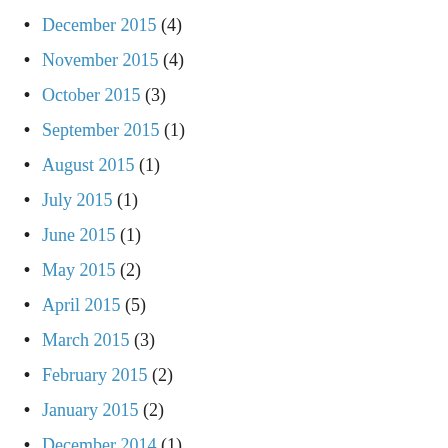December 2015 (4)
November 2015 (4)
October 2015 (3)
September 2015 (1)
August 2015 (1)
July 2015 (1)
June 2015 (1)
May 2015 (2)
April 2015 (5)
March 2015 (3)
February 2015 (2)
January 2015 (2)
December 2014 (1)
November 2014 (1)
October 2014 (1)
September 2014 (1)